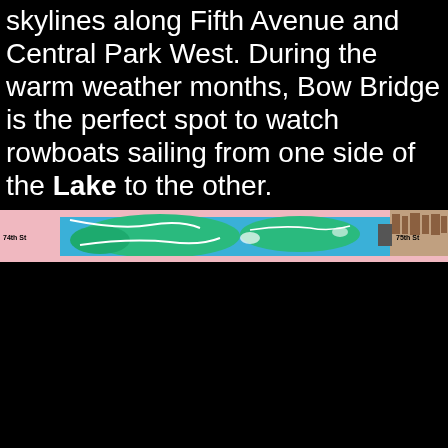skylines along Fifth Avenue and Central Park West. During the warm weather months, Bow Bridge is the perfect spot to watch rowboats sailing from one side of the Lake to the other.
[Figure (map): A narrow horizontal strip of a map showing Central Park area around 74th St, with blue (water/lake), green (park), and pink areas, with street labels '74th St' on the left and '75th St' on the right edge.]